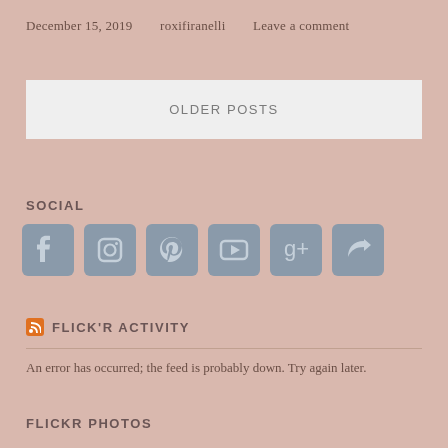December 15, 2019   roxifiranelli   Leave a comment
OLDER POSTS
SOCIAL
[Figure (infographic): Six social media icons: Facebook, Instagram, Pinterest, YouTube, Google+, Share]
FLICK'R ACTIVITY
An error has occurred; the feed is probably down. Try again later.
FLICKR PHOTOS